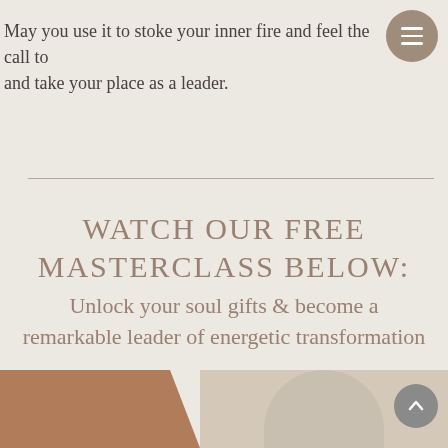[Figure (other): Hamburger menu button circle in tan/brown color top right]
May you use it to stoke your inner fire and feel the call to and take your place as a leader.
WATCH OUR FREE MASTERCLASS BELOW: Unlock your soul gifts & become a remarkable leader of energetic transformation
[Figure (other): Scroll-up button circle in gray color bottom right]
[Figure (photo): Bottom photo strip showing a warm brown triangular shape on the left and a woman's photo on the right]